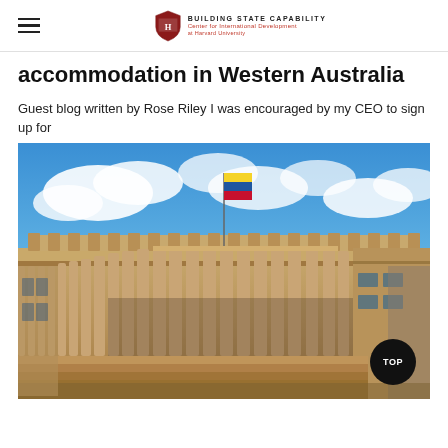Building State Capability — Center for International Development at Harvard University
accommodation in Western Australia
Guest blog written by Rose Riley I was encouraged by my CEO to sign up for
[Figure (photo): Photo of a large neoclassical government building with tall columns, a Venezuelan flag flying on top, set against a blue sky with white clouds.]